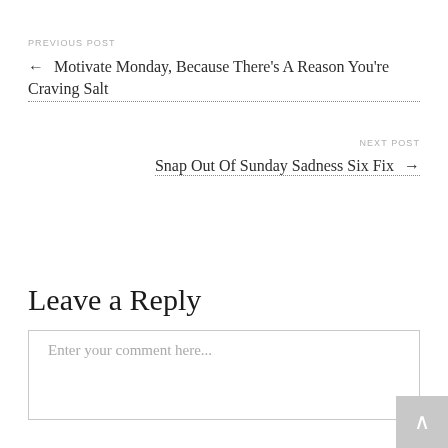PREVIOUS POST
← Motivate Monday, Because There's A Reason You're Craving Salt
NEXT POST
Snap Out Of Sunday Sadness Six Fix →
Leave a Reply
Enter your comment here...